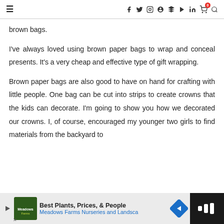≡  f  twitter  instagram  pinterest  G+  youtube  in  cart(0)  search
brown bags.
I've always loved using brown paper bags to wrap and conceal presents. It's a very cheap and effective type of gift wrapping.
Brown paper bags are also good to have on hand for crafting with little people. One bag can be cut into strips to create crowns that the kids can decorate. I'm going to show you how we decorated our crowns. I, of course, encouraged my younger two girls to find materials from the backyard to
[Figure (other): Advertisement banner: Best Plants, Prices, & People — Meadows Farms Nurseries and Landsca... with logo and navigation arrow]